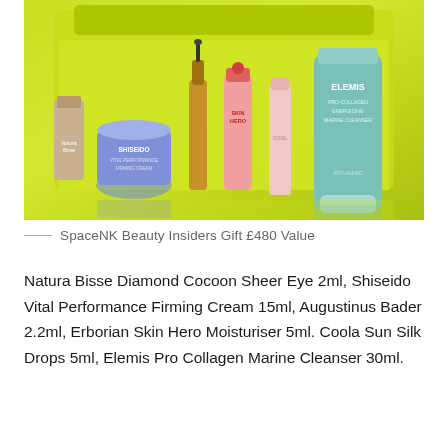[Figure (photo): Collection of beauty/skincare products including Natura Bisse, Shiseido, Augustinus Bader oil dropper, Erborian Skin Hero, Coola, and Elemis Pro-Collagen Marine Cleanser arranged in front of a yellow-green neon bag.]
SpaceNK Beauty Insiders Gift £480 Value
Natura Bisse Diamond Cocoon Sheer Eye 2ml, Shiseido Vital Performance Firming Cream 15ml, Augustinus Bader 2.2ml, Erborian Skin Hero Moisturiser 5ml. Coola Sun Silk Drops 5ml, Elemis Pro Collagen Marine Cleanser 30ml.